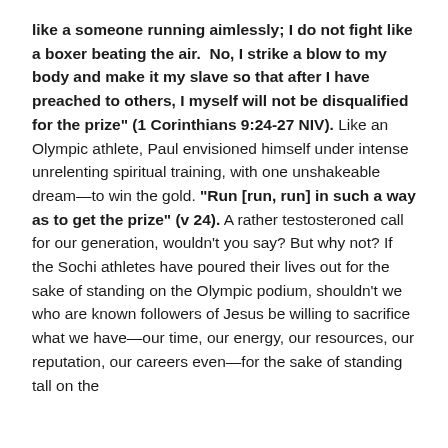like a someone running aimlessly; I do not fight like a boxer beating the air.  No, I strike a blow to my body and make it my slave so that after I have preached to others, I myself will not be disqualified for the prize" (1 Corinthians 9:24-27 NIV). Like an Olympic athlete, Paul envisioned himself under intense unrelenting spiritual training, with one unshakeable dream—to win the gold. "Run [run, run] in such a way as to get the prize" (v 24). A rather testosteroned call for our generation, wouldn't you say? But why not? If the Sochi athletes have poured their lives out for the sake of standing on the Olympic podium, shouldn't we who are known followers of Jesus be willing to sacrifice what we have—our time, our energy, our resources, our reputation, our careers even—for the sake of standing tall on the podium for Christ? What is it that we give up...